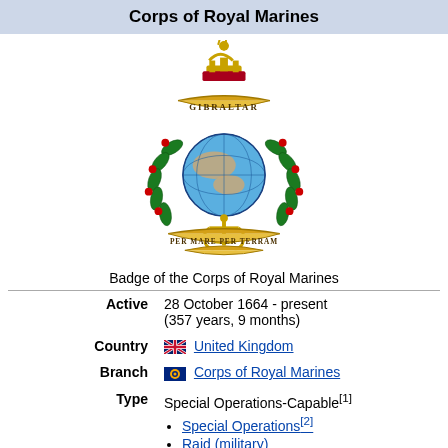Corps of Royal Marines
[Figure (illustration): Badge of the Corps of Royal Marines — a crowned lion atop a globe surrounded by a laurel wreath with red berries, a gold anchor below, and scrolls reading 'GIBRALTAR' above and 'PER MARE PER TERRAM' below.]
Badge of the Corps of Royal Marines
| Active | 28 October 1664 - present (357 years, 9 months) |
| Country | United Kingdom |
| Branch | Corps of Royal Marines |
| Type | Special Operations-Capable[1]
• Special Operations[2]
• Raid (military) |